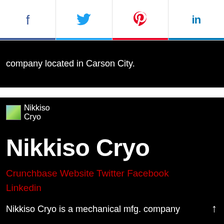f  [Twitter bird]  p  in
company located in Carson City.
[Figure (logo): Nikkiso Cryo logo placeholder image with text 'Nikkiso Cryo']
Nikkiso Cryo
Crunchbase Website Twitter Facebook Linkedin
Nikkiso Cryo is a mechanical mfg. company